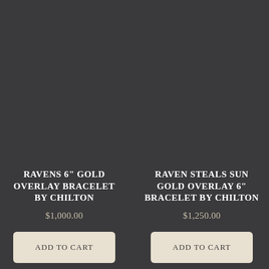[Figure (photo): Product image area for Ravens 6 inch Gold Overlay Bracelet by Chilton - dark background product card]
RAVENS 6" GOLD OVERLAY BRACELET BY CHILTON
$1,000.00
[Figure (photo): Product image area for Raven Steals Sun Gold Overlay 6 inch Bracelet by Chilton - dark background product card]
RAVEN STEALS SUN GOLD OVERLAY 6" BRACELET BY CHILTON
$1,250.00